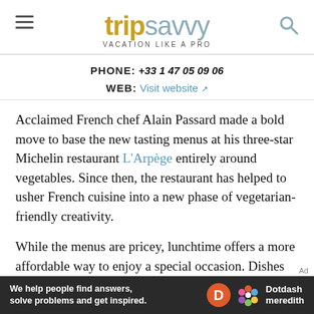tripsavvy VACATION LIKE A PRO
PHONE: +33 1 47 05 09 06
WEB: Visit website
Acclaimed French chef Alain Passard made a bold move to base the new tasting menus at his three-star Michelin restaurant L'Arpège entirely around vegetables. Since then, the restaurant has helped to usher French cuisine into a new phase of vegetarian-friendly creativity.
While the menus are pricey, lunchtime offers a more affordable way to enjoy a special occasion. Dishes that
[Figure (other): Dotdash Meredith advertisement banner: 'We help people find answers, solve problems and get inspired.' with Dotdash Meredith logo]